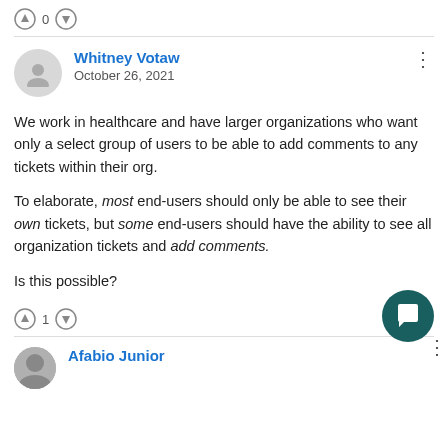↑ 0 ↓
Whitney Votaw
October 26, 2021
We work in healthcare and have larger organizations who want only a select group of users to be able to add comments to any tickets within their org.

To elaborate, most end-users should only be able to see their own tickets, but some end-users should have the ability to see all organization tickets and add comments.

Is this possible?
↑ 1 ↓
Afabio Junior